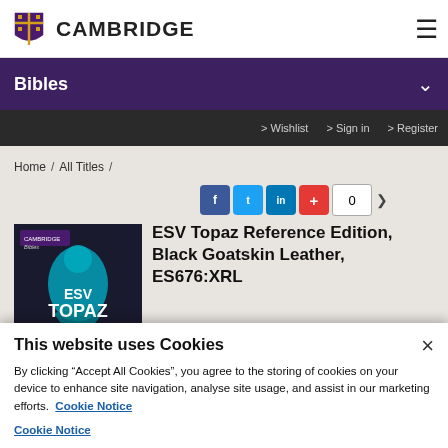[Figure (logo): Cambridge University Press logo with shield and CAMBRIDGE text]
Bibles
> Wishlist  > Sign in  > Register
Home / All Titles /
[Figure (infographic): Social share buttons: Facebook, Twitter, LinkedIn, +, count 0]
[Figure (photo): ESV Topaz Reference Edition book cover, dark blue with teal figure]
ESV Topaz Reference Edition, Black Goatskin Leather, ES676:XRL
This website uses Cookies
By clicking “Accept All Cookies”, you agree to the storing of cookies on your device to enhance site navigation, analyse site usage, and assist in our marketing efforts.  Cookie Notice
Cookie Notice